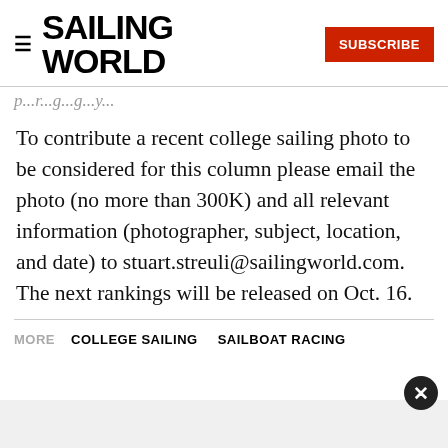SAILING WORLD | SUBSCRIBE
...p...r...g...g...y...
To contribute a recent college sailing photo to be considered for this column please email the photo (no more than 300K) and all relevant information (photographer, subject, location, and date) to stuart.streuli@sailingworld.com. The next rankings will be released on Oct. 16.
MORE  COLLEGE SAILING  SAILBOAT RACING